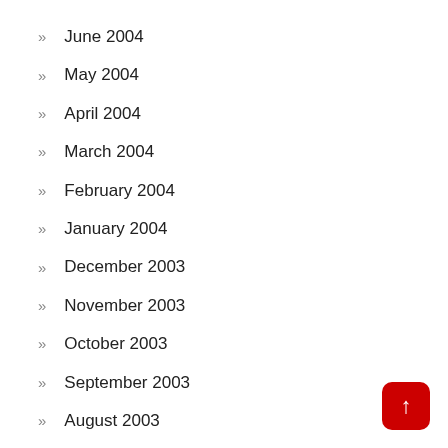June 2004
May 2004
April 2004
March 2004
February 2004
January 2004
December 2003
November 2003
October 2003
September 2003
August 2003
July 2003